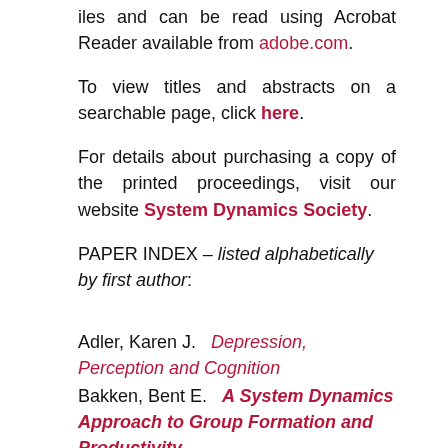iles and can be read using Acrobat Reader available from adobe.com.
To view titles and abstracts on a searchable page, click here.
For details about purchasing a copy of the printed proceedings, visit our website System Dynamics Society.
PAPER INDEX – listed alphabetically by first author:
Adler, Karen J.   Depression, Perception and Cognition
Bakken, Bent E.   A System Dynamics Approach to Group Formation and Productivity
Bakken, Bent E.   Simulation Games – Do